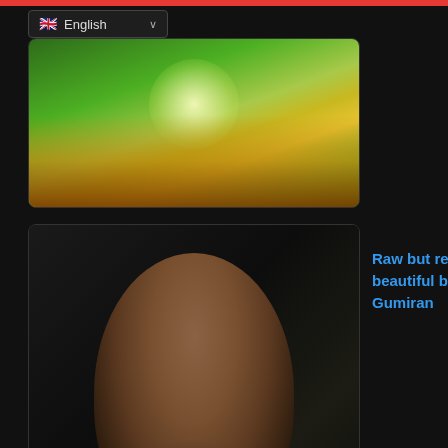[Figure (screenshot): Website screenshot showing dark-themed page with language dropdown (English) and two article cards with thumbnail images.]
Raw but realistically beautiful by Donell Gumiran
We use cookies on our website to give you the most relevant experience by remembering your preferences and repeat visits. By clicking “Accept”, you consent to the use of ALL the cookies.
Cookie settings
ACCEPT